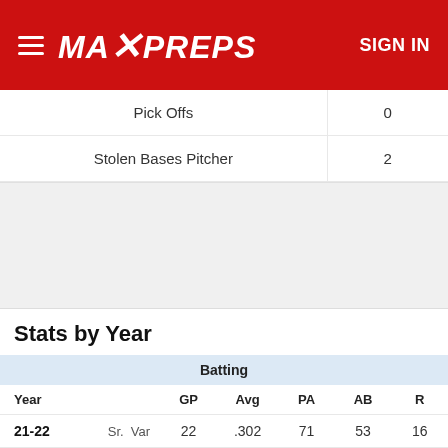MaxPreps — SIGN IN
| Stat | Value |
| --- | --- |
| Pick Offs | 0 |
| Stolen Bases Pitcher | 2 |
Stats by Year
| Year |  | GP | Avg | PA | AB | R |
| --- | --- | --- | --- | --- | --- | --- |
| 21-22 | Sr. Var | 22 | .302 | 71 | 53 | 16 |
| 20-21 | Jr. Var | 28 | .267 | 91 | 75 | 16 |
| Var Tot |  | 50 | .281 | 162 | 128 | 32 |